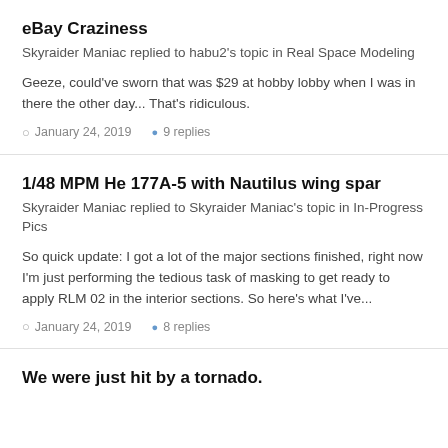eBay Craziness
Skyraider Maniac replied to habu2's topic in Real Space Modeling
Geeze, could've sworn that was $29 at hobby lobby when I was in there the other day... That's ridiculous.
January 24, 2019   9 replies
1/48 MPM He 177A-5 with Nautilus wing spar
Skyraider Maniac replied to Skyraider Maniac's topic in In-Progress Pics
So quick update: I got a lot of the major sections finished, right now I'm just performing the tedious task of masking to get ready to apply RLM 02 in the interior sections. So here's what I've...
January 24, 2019   8 replies
We were just hit by a tornado.